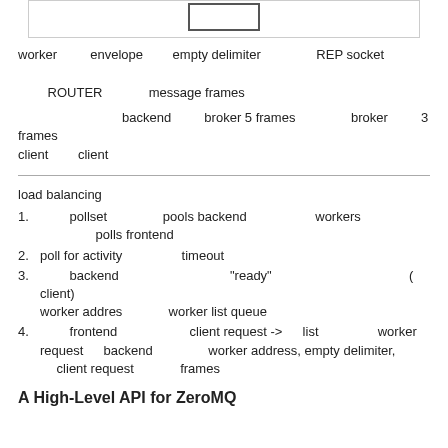[Figure (schematic): Partial diagram showing a box/rectangle shape at the top of the page]
worker 에서 envelope에는 empty delimiter 뒤에REP socket 에서왔으므로 ROUTER 에서온 message frames이
에서backend 와 broker 5 frames 에서broker 와 3 frames 로된 client의 client 이다라고한다
load balancing 패턴
의 pollset에서 pools backend에서있는 workers 에게 polls frontend
poll for activity 에서 timeout 에
의 backend 에서받은것은 "ready" 메세지이므로된다 (이므로 client)이므로된것이므로 worker addres 에서 worker list queue
의 frontend 에서받은 client request -> 이 list 에서 worker에서 request 이 backend에서 worker address, empty delimiter, 이 client request 에서 frames
A High-Level API for ZeroMQ